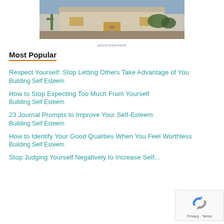[Figure (photo): Photo of a Southwest-style adobe house with cactus and desert landscaping, shown partially at the top of the page as an advertisement image.]
advertisement
Most Popular
Respect Yourself: Stop Letting Others Take Advantage of You
Building Self Esteem
How to Stop Expecting Too Much From Yourself
Building Self Esteem
23 Journal Prompts to Improve Your Self-Esteem
Building Self Esteem
How to Identify Your Good Qualities When You Feel Worthless
Building Self Esteem
Stop Judging Yourself Negatively to Increase Self...